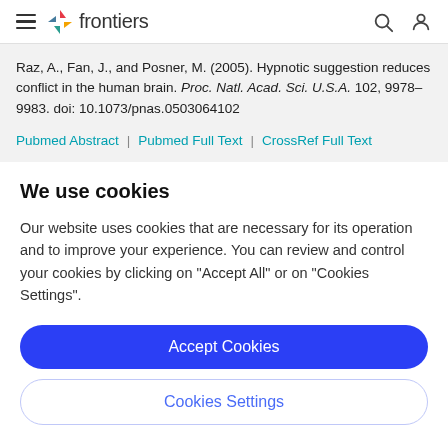frontiers
Raz, A., Fan, J., and Posner, M. (2005). Hypnotic suggestion reduces conflict in the human brain. Proc. Natl. Acad. Sci. U.S.A. 102, 9978–9983. doi: 10.1073/pnas.0503064102
Pubmed Abstract | Pubmed Full Text | CrossRef Full Text
We use cookies
Our website uses cookies that are necessary for its operation and to improve your experience. You can review and control your cookies by clicking on "Accept All" or on "Cookies Settings".
Accept Cookies
Cookies Settings